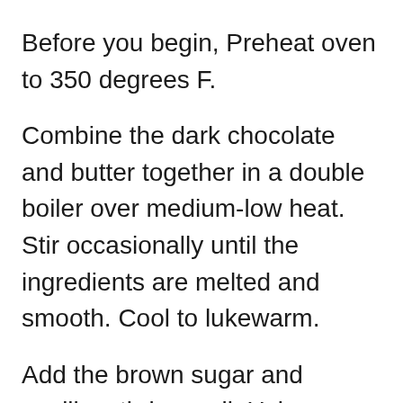Before you begin, Preheat oven to 350 degrees F.
Combine the dark chocolate and butter together in a double boiler over medium-low heat. Stir occasionally until the ingredients are melted and smooth. Cool to lukewarm.
Add the brown sugar and vanilla, stirring well. Using a whisk or hand mixer, Beat in the eggs one at a time, mixing until the chocolate mixture is smooth and glossy.